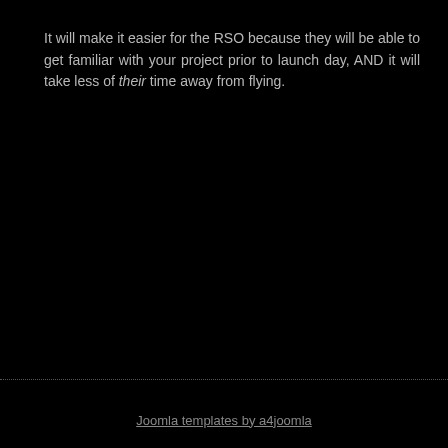It will make it easier for the RSO because they will be able to get familiar with your project prior to launch day, AND it will take less of their time away from flying.
Joomla templates by a4joomla